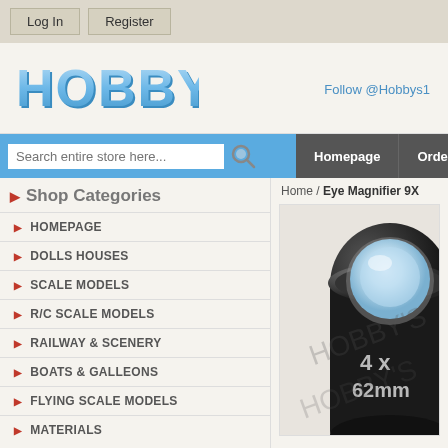Log In | Register
[Figure (logo): HOBBY'S logo in bold blue 3D lettering]
Follow @Hobbys1
Search entire store here...
Homepage | Order your Annual
Shop Categories
HOMEPAGE
DOLLS HOUSES
SCALE MODELS
R/C SCALE MODELS
RAILWAY & SCENERY
BOATS & GALLEONS
FLYING SCALE MODELS
MATERIALS
Home / Eye Magnifier 9X
[Figure (photo): Close-up photo of a black eye magnifier/loupe lens labeled '4x 62mm' with a round glass lens visible from above]